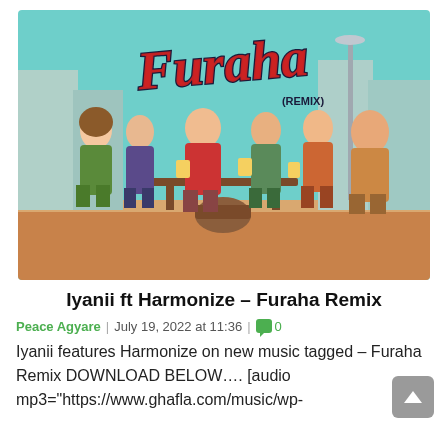[Figure (illustration): Illustrated cover art for 'Furaha Remix' by Iyanii ft Harmonize. Shows cartoon animated characters of several bearded men celebrating with beer mugs around a table, set against a city skyline background. The word 'Furaha' is written in large stylized red cursive lettering with '(REMIX)' below it. Background colors include teal, orange and muted urban tones.]
Iyanii ft Harmonize – Furaha Remix
Peace Agyare | July 19, 2022 at 11:36 | 💬 0
Iyanii features Harmonize on new music tagged – Furaha Remix DOWNLOAD BELOW…. [audio mp3="https://www.ghafla.com/music/wp-